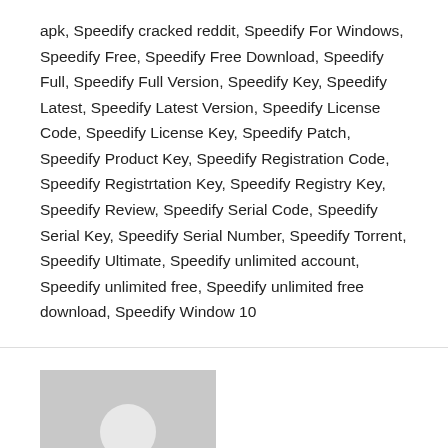apk, Speedify cracked reddit, Speedify For Windows, Speedify Free, Speedify Free Download, Speedify Full, Speedify Full Version, Speedify Key, Speedify Latest, Speedify Latest Version, Speedify License Code, Speedify License Key, Speedify Patch, Speedify Product Key, Speedify Registration Code, Speedify Registrtation Key, Speedify Registry Key, Speedify Review, Speedify Serial Code, Speedify Serial Key, Speedify Serial Number, Speedify Torrent, Speedify Ultimate, Speedify unlimited account, Speedify unlimited free, Speedify unlimited free download, Speedify Window 10
[Figure (illustration): Generic user avatar placeholder image — grey square with a white silhouette of a person (head and shoulders)]
Published by VLadmn